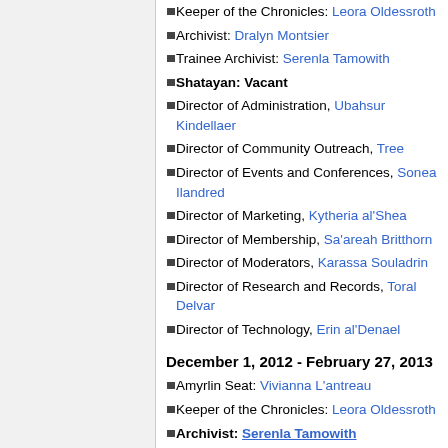Keeper of the Chronicles: Leora Oldessroth
Archivist: Dralyn Montsier
Trainee Archivist: Serenla Tamowith
Shatayan: Vacant
Director of Administration, Ubahsur Kindellaer
Director of Community Outreach, Tree
Director of Events and Conferences, Sonea Ilandred
Director of Marketing, Kytheria al'Shea
Director of Membership, Sa'areah Britthorn
Director of Moderators, Karassa Souladrin
Director of Research and Records, Toral Delvar
Director of Technology, Erin al'Denael
December 1, 2012 - February 27, 2013
Amyrlin Seat: Vivianna L'antreau
Keeper of the Chronicles: Leora Oldessroth
Archivist: Serenla Tamowith
Shatayan: Vacant